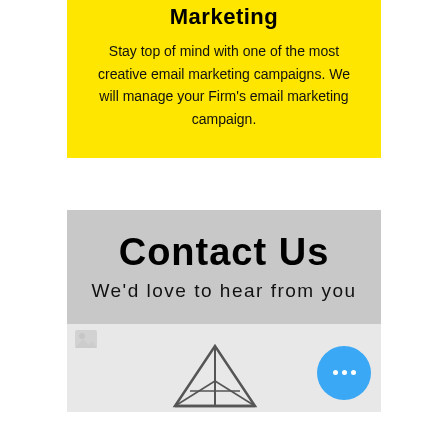Marketing
Stay top of mind with one of the most creative email marketing campaigns. We will manage your Firm's email marketing campaign.
Contact Us
We'd love to hear from you
[Figure (illustration): Paper plane / send icon and a blue circle button with three dots (ellipsis)]